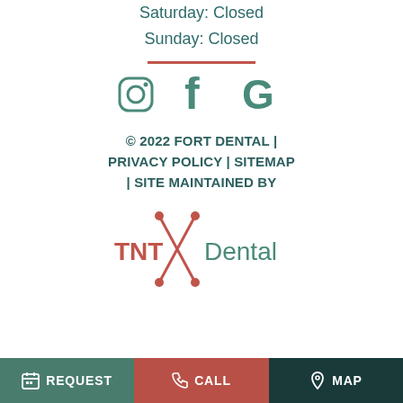Saturday: Closed
Sunday: Closed
[Figure (illustration): Social media icons: Instagram, Facebook, Google in teal/green color]
© 2022 FORT DENTAL | PRIVACY POLICY | SITEMAP | SITE MAINTAINED BY
[Figure (logo): TNT Dental logo with X graphic and dots]
REQUEST | CALL | MAP